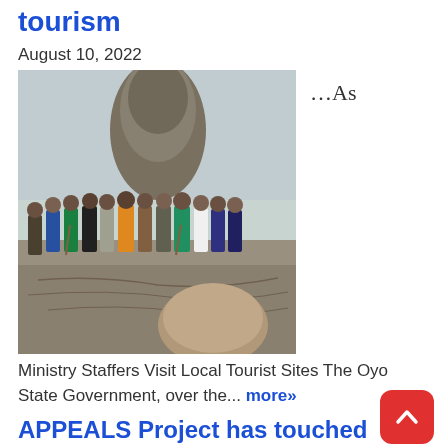tourism
August 10, 2022
[Figure (photo): Group of people standing outdoors on a rocky surface near a large stone formation. Ministry Staffers visiting a local tourist site.]
…As
Ministry Staffers Visit Local Tourist Sites The Oyo State Government, over the... more»
APPEALS Project has touched many lives in Lagos, says Hamzat